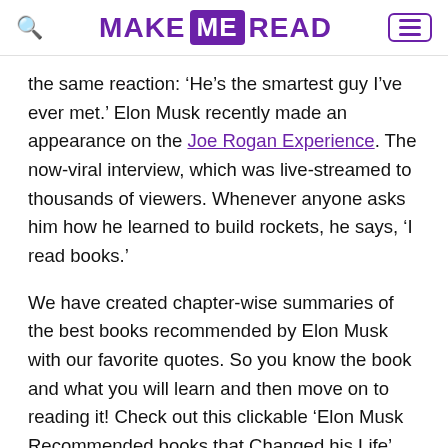MAKE ME READ
the same reaction: ‘He’s the smartest guy I’ve ever met.’ Elon Musk recently made an appearance on the Joe Rogan Experience. The now-viral interview, which was live-streamed to thousands of viewers. Whenever anyone asks him how he learned to build rockets, he says, ‘I read books.’
We have created chapter-wise summaries of the best books recommended by Elon Musk with our favorite quotes. So you know the book and what you will learn and then move on to reading it! Check out this clickable ‘Elon Musk Recommended books that Changed his Life’.